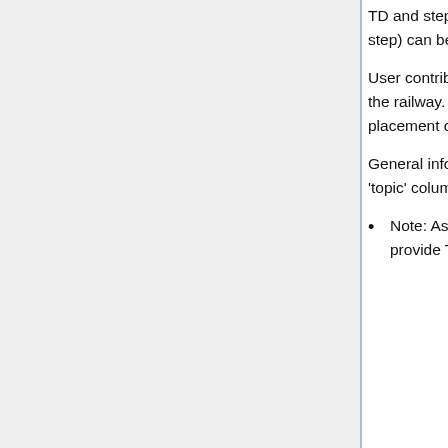TD and stepping tables which show which conditions must be met in order for description to step) can be found by clicking on the link in the 'ID' column.
User contributed maps, where available, show signal berths and their locations in relation to the railway. Because maps have been compiled using steps seen from the feed, the placement of berths may not be accurate in all locations.
General information relating to entire signalling areas can be found by clicking the link in the 'topic' column. This may include track and signalling maps released by Network Rail.
Note: As of September 2017 NR have decided still not to continue fulfilling requests to provide TD technical data (SOP's, Stepping